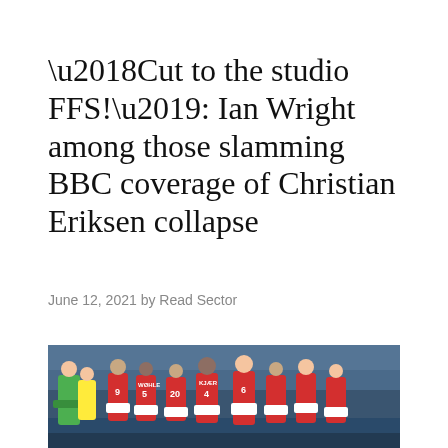‘Cut to the studio FFS!’: Ian Wright among those slamming BBC coverage of Christian Eriksen collapse
June 12, 2021 by Read Sector
[Figure (photo): Danish football players in red and white jerseys standing together on the pitch, appearing distressed, with a goalkeeper in green visible on the left. The scene is from the 2021 Euro match when Christian Eriksen collapsed.]